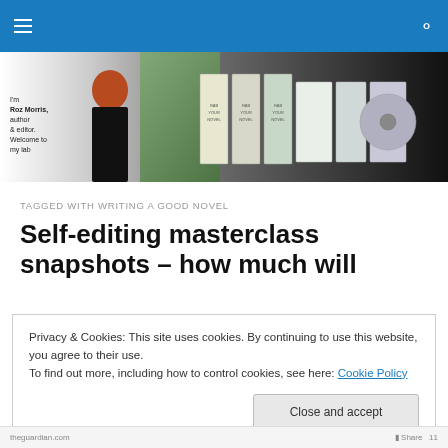Navigation bar with hamburger menu and search icon
[Figure (photo): Website banner showing author Roz Morris with red hair, book covers, and dark gradient background. Text reads: I'm Roz Morris, author & editor. Welcome to my lab]
TAGGED WITH WRITING A GOOD NOVEL
Self-editing masterclass snapshots – how much will
Privacy & Cookies: This site uses cookies. By continuing to use this website, you agree to their use.
To find out more, including how to control cookies, see here: Cookie Policy
Close and accept
theguardian.com  Share